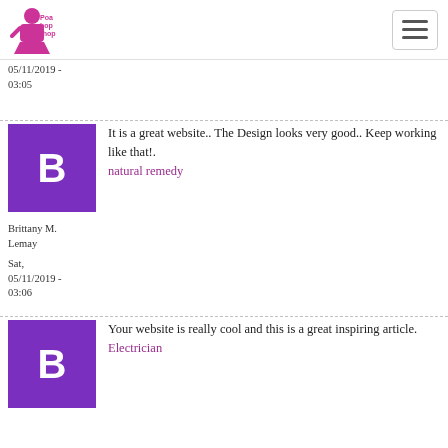Poa Bop Shop
05/11/2019 - 03:05
It is a great website.. The Design looks very good.. Keep working like that!. natural remedy
Brittany M. Lemay
Sat, 05/11/2019 - 03:06
Your website is really cool and this is a great inspiring article. Electrician